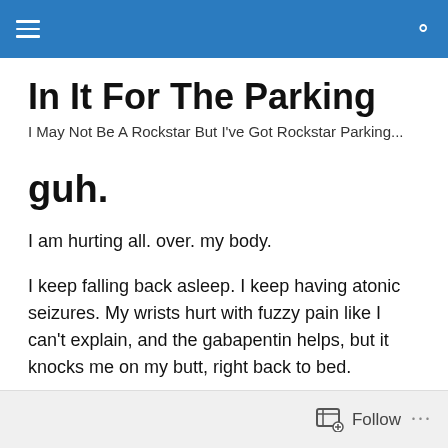In It For The Parking [navigation bar]
In It For The Parking
I May Not Be A Rockstar But I've Got Rockstar Parking...
guh.
I am hurting all. over. my body.
I keep falling back asleep. I keep having atonic seizures. My wrists hurt with fuzzy pain like I can't explain, and the gabapentin helps, but it knocks me on my butt, right back to bed.
Follow